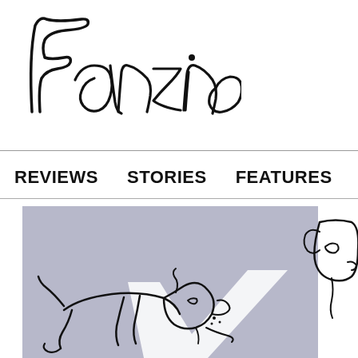Fanzine
REVIEWS   STORIES   FEATURES   CONTRI...
[Figure (illustration): Hand-drawn illustration of two dogs in line art style on a muted purple/grey background with a white star shape. The left dog is shown in profile walking, with angular legs and a curved body. The right dog is partially visible at the right edge, with a box-like head shape. The style is loose, sketchy line art.]